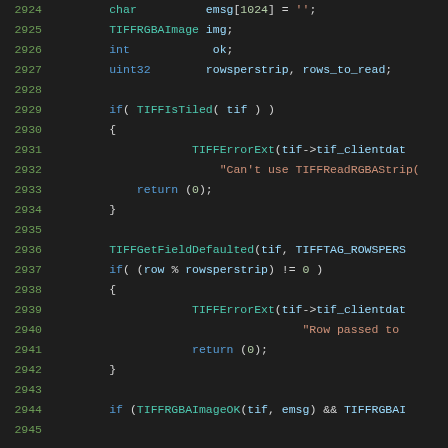[Figure (screenshot): Source code snippet in a dark-themed code editor showing C code lines 2924-2945, with syntax highlighting. Functions shown include TIFFRGBAImage, TIFFIsTiled, TIFFErrorExt, TIFFGetFieldDefaulted, TIFFRGBAImageOK.]